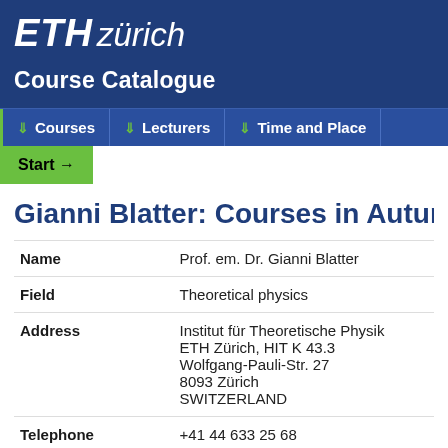[Figure (logo): ETH Zürich logo with white italic text on blue background]
Course Catalogue
Courses | Lecturers | Time and Place
Start →
Gianni Blatter: Courses in Autumn Se
| Name | Prof. em. Dr. Gianni Blatter |
| Field | Theoretical physics |
| Address | Institut für Theoretische Physik
ETH Zürich, HIT K 43.3
Wolfgang-Pauli-Str. 27
8093 Zürich
SWITZERLAND |
| Telephone | +41 44 633 25 68 |